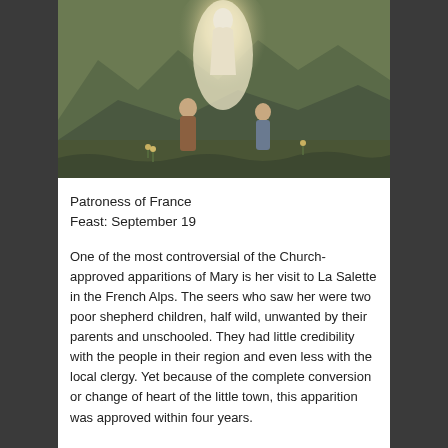[Figure (illustration): Painting of the apparition of Mary at La Salette in the French Alps, showing a glowing white figure of Mary appearing before two shepherd children in a mountainous landscape]
Patroness of France
Feast: September 19
One of the most controversial of the Church-approved apparitions of Mary is her visit to La Salette in the French Alps. The seers who saw her were two poor shepherd children, half wild, unwanted by their parents and unschooled. They had little credibility with the people in their region and even less with the local clergy. Yet because of the complete conversion or change of heart of the little town, this apparition was approved within four years.